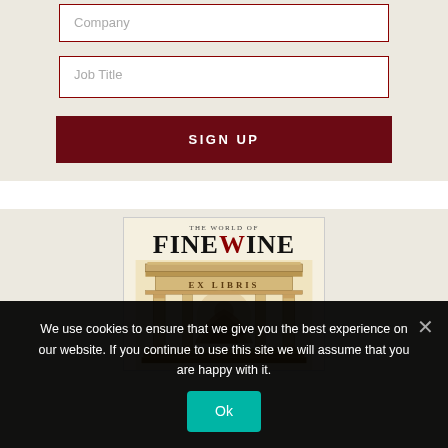Company
Job Title
SIGN UP
[Figure (illustration): Magazine cover of 'The World of Fine Wine' featuring an Ex Libris engraving with classical columns and decorative imagery]
We use cookies to ensure that we give you the best experience on our website. If you continue to use this site we will assume that you are happy with it.
Ok